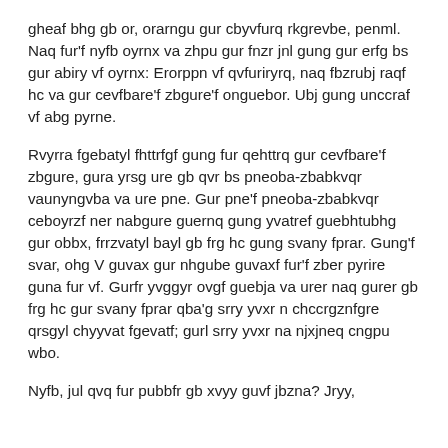gheaf bhg gb or, orarngu gur cbyvfurq rkgrevbe, penml. Naq fur'f nyfb oyrnx va zhpu gur fnzr jnl gung gur erfg bs gur abiry vf oyrnx: Erorppn vf qvfuriryrq, naq fbzrubj raqf hc va gur cevfbare'f zbgure'f onguebor. Ubj gung unccraf vf abg pyrne.
Rvyrra fgebatyl fhttrfgf gung fur qehttrq gur cevfbare'f zbgure, gura yrsg ure gb qvr bs pneoba-zbabkvqr vaunyngvba va ure pne. Gur pne'f pneoba-zbabkvqr ceboyrzf ner nabgure guernq gung yvatref guebhtubhg gur obbx, frrzvatyl bayl gb frg hc gung svany fprar. Gung'f svar, ohg V guvax gur nhgube guvaxf fur'f zber pyrire guna fur vf. Gurfr yvggyr ovgf guebja va urer naq gurer gb frg hc gur svany fprar qba'g srry yvxr n chccrgznfgre qrsgyl chyyvat fgevatf; gurl srry yvxr na njxjneq cngpu wbo.
Nyfb, jul qvq fur pubbfr gb xvyy guvf jbzna? Jryy,